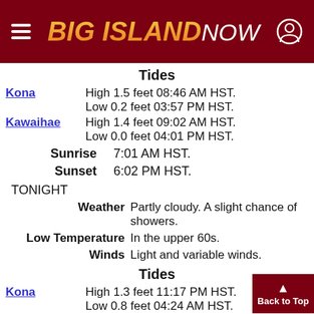Big Island Now
Tides
Kona  High 1.5 feet 08:46 AM HST.
Low 0.2 feet 03:57 PM HST.
Kawaihae  High 1.4 feet 09:02 AM HST.
Low 0.0 feet 04:01 PM HST.
Sunrise  7:01 AM HST.
Sunset  6:02 PM HST.
TONIGHT
Weather  Partly cloudy. A slight chance of showers.
Low Temperature  In the upper 60s.
Winds  Light and variable winds.
Tides
Kona  High 1.3 feet 11:17 PM HST.
Low 0.8 feet 04:24 AM HST.